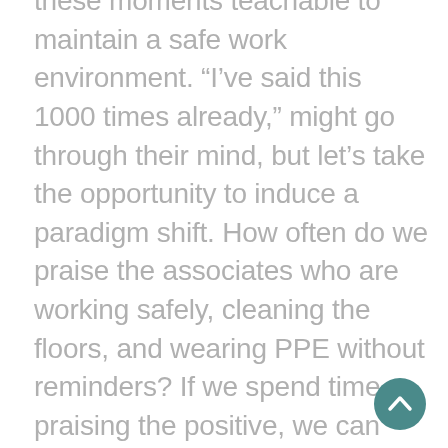these moments teachable to maintain a safe work environment. “I’ve said this 1000 times already,” might go through their mind, but let’s take the opportunity to induce a paradigm shift. How often do we praise the associates who are working safely, cleaning the floors, and wearing PPE without reminders? If we spend time praising the positive, we can change our culture. A more positive culture will get more buy-in from the associates and create an atmosphere of trust.
[Figure (other): Circular scroll-to-top button with upward chevron arrow, teal/dark cyan background]